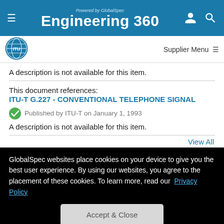Powered by GlobalSpec Engineering 360
[Figure (logo): ITU logo - blue globe with ITU text]
Supplier Menu
A description is not available for this item.
This document references:
ITU-T G.227 - CONVENTIONAL TELEPHONE SIGNAL
Published by ITU-T on January 1, 1993
A description is not available for this item.
View All
GlobalSpec websites place cookies on your device to give you the best user experience. By using our websites, you agree to the placement of these cookies. To learn more, read our Privacy Policy
Accept & Close